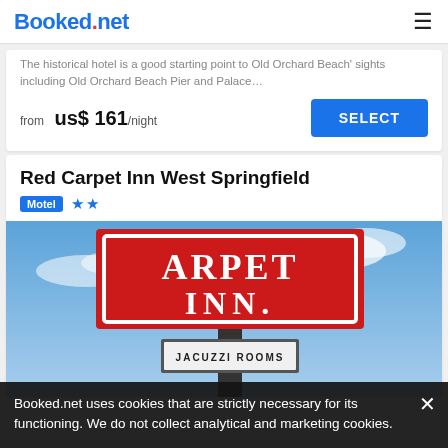Booked.net
The historical hotel is a good starting point to Old Orchard Beach' sights including Old Orchard Beach Pier and Palace…
from us$ 161/night
Red Carpet Inn West Springfield
Motel ★★
[Figure (photo): Photo of Red Carpet Inn sign showing the words 'CARPET INN' in large letters on a red sign, with a smaller sign below reading 'JACUZZI ROOMS', against a blue sky background.]
Booked.net uses cookies that are strictly necessary for its functioning. We do not collect analytical and marketing cookies.